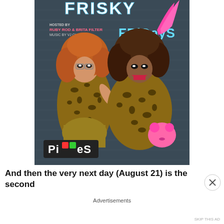[Figure (photo): Promotional poster for 'Frisky Fridays' at Pieces bar. Two drag performers in leopard print outfits posed against a brick wall background. Text reads: 'FRISKY' at top, 'FRiDayS' on right, 'HOSTED BY RUBY ROD & BRITA FILTER', 'MUSIC BY VJ OHRICKY', 'PIECES' logo at bottom left.]
And then the very next day (August 21) is the second
Advertisements